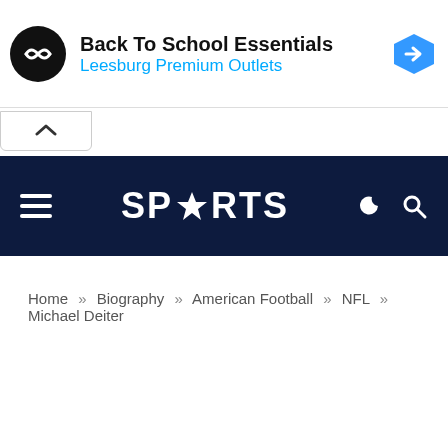[Figure (screenshot): Advertisement banner: Back To School Essentials - Leesburg Premium Outlets with logo and blue arrow icon]
SPORTS (navigation bar with hamburger menu, Sports logo with star, moon/dark mode icon, and search icon)
Home » Biography » American Football » NFL » Michael Deiter